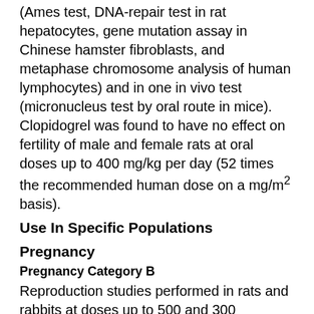(Ames test, DNA-repair test in rat hepatocytes, gene mutation assay in Chinese hamster fibroblasts, and metaphase chromosome analysis of human lymphocytes) and in one in vivo test (micronucleus test by oral route in mice). Clopidogrel was found to have no effect on fertility of male and female rats at oral doses up to 400 mg/kg per day (52 times the recommended human dose on a mg/m² basis).
Use In Specific Populations
Pregnancy
Pregnancy Category B
Reproduction studies performed in rats and rabbits at doses up to 500 and 300 mg/kg/day, respectively (65 and 78 times the recommended daily human dose, respectively, on a mg/m² basis).